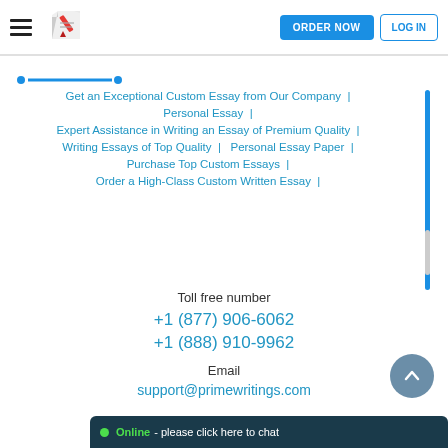ORDER NOW | LOG IN
[Figure (logo): PrimeWritings logo with pen icon]
Get an Exceptional Custom Essay from Our Company |
Personal Essay |
Expert Assistance in Writing an Essay of Premium Quality |
Writing Essays of Top Quality | Personal Essay Paper |
Purchase Top Custom Essays |
Order a High-Class Custom Written Essay |
Toll free number
+1 (877) 906-6062
+1 (888) 910-9962
Email
support@primewritings.com
Online - please click here to chat